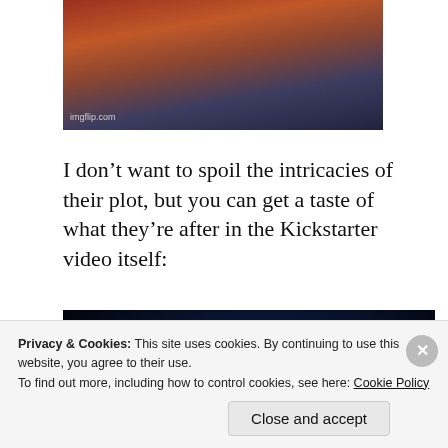[Figure (photo): Partial anime/illustration image showing a warrior figure with reddish robes holding a weapon, dark stormy sky background. imgflip.com watermark visible.]
I don’t want to spoil the intricacies of their plot, but you can get a taste of what they’re after in the Kickstarter video itself:
[Figure (screenshot): Dark cinematic image showing silhouettes of characters against a glowing blue light, Kickstarter logo in top left, and text at the bottom reading partial title in blocky white letters.]
Privacy & Cookies: This site uses cookies. By continuing to use this website, you agree to their use.
To find out more, including how to control cookies, see here: Cookie Policy
Close and accept